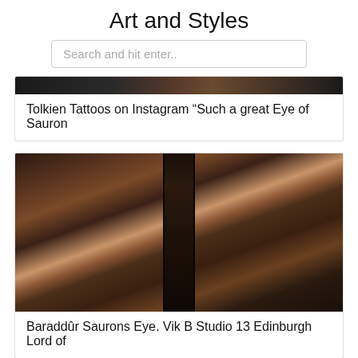Art and Styles
Search and hit enter..
[Figure (photo): Partial dark image, top of a tattoo photo showing dark background with reddish elements]
Tolkien Tattoos on Instagram “Such a great Eye of Sauron
[Figure (photo): Close-up tattoo photo of Barad-dûr Saurons Eye tower in dark sepia/brown tones, detailed architectural tattoo on arm]
Baraddûr Saurons Eye. Vik B Studio 13 Edinburgh Lord of